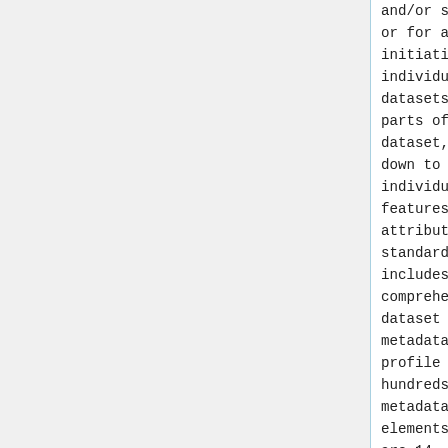and/or sensor, or for an initiative), individual datasets and parts of a dataset, even down to individual features and attributes. The standard includes a comprehensive dataset metadata profile with hundreds of metadata elements. There are 14
and/or sensor, or for an initiative), individual datasets and parts of a dataset, even down to individual features and attributes. The standard includes a comprehensive dataset metadata profile with hundreds of metadata elements. There are 14